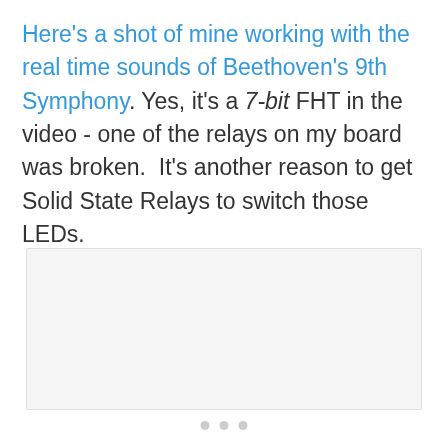Here's a shot of mine working with the real time sounds of Beethoven's 9th Symphony. Yes, it's a 7-bit FHT in the video - one of the relays on my board was broken.  It's another reason to get Solid State Relays to switch those LEDs.
[Figure (other): A light gray placeholder image/video thumbnail region]